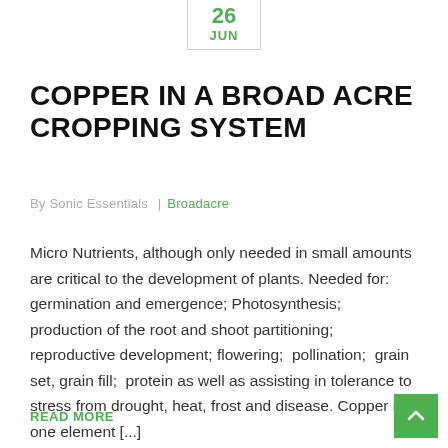26 JUN
COPPER IN A BROAD ACRE CROPPING SYSTEM
By Sonic Essentials | Broadacre
Micro Nutrients, although only needed in small amounts are critical to the development of plants. Needed for: germination and emergence; Photosynthesis;  production of the root and shoot partitioning; reproductive development; flowering;  pollination;  grain set, grain fill;  protein as well as assisting in tolerance to stress from drought, heat, frost and disease. Copper is one element [...]
READ MORE